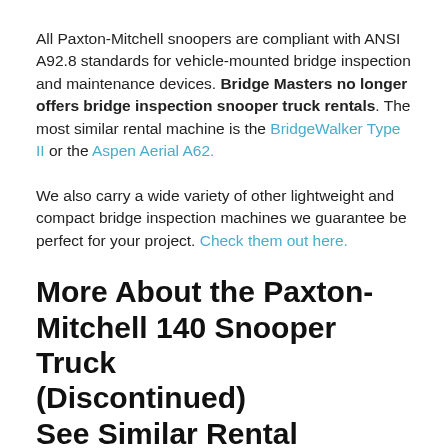All Paxton-Mitchell snoopers are compliant with ANSI A92.8 standards for vehicle-mounted bridge inspection and maintenance devices. Bridge Masters no longer offers bridge inspection snooper truck rentals. The most similar rental machine is the BridgeWalker Type II or the Aspen Aerial A62.
We also carry a wide variety of other lightweight and compact bridge inspection machines we guarantee be perfect for your project. Check them out here.
More About the Paxton-Mitchell 140 Snooper Truck (Discontinued) See Similar Rental BridgeWalker Type II